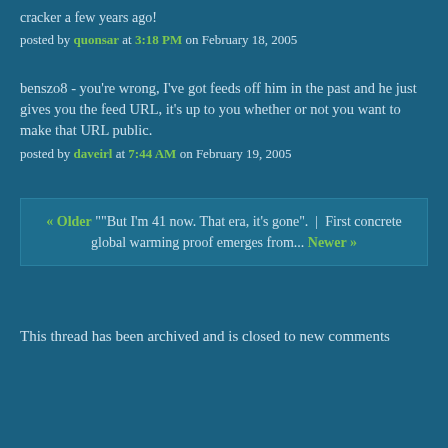cracker a few years ago!
posted by quonsar at 3:18 PM on February 18, 2005
benszo8 - you're wrong, I've got feeds off him in the past and he just gives you the feed URL, it's up to you whether or not you want to make that URL public.
posted by daveirl at 7:44 AM on February 19, 2005
« Older ""But I'm 41 now. That era, it's gone".  |  First concrete global warming proof emerges from... Newer »
This thread has been archived and is closed to new comments